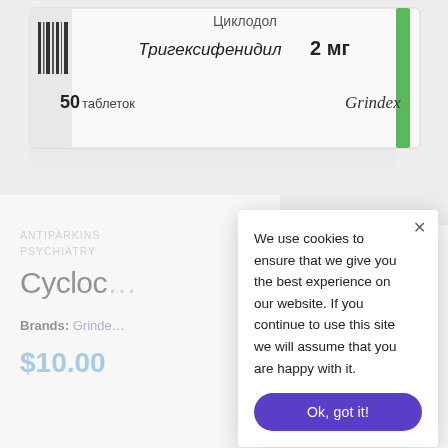[Figure (photo): Pharmaceutical product box labeled 'Тригексифенидил 2 мг', '50 таблеток', with Grindex logo and green accent stripe on a white background]
ANTIPARKINS
PSYCHIATRY
Cycloc…
Brands: Grinde…
$10.00
We use cookies to ensure that we give you the best experience on our website. If you continue to use this site we will assume that you are happy with it.
Ok, got it!